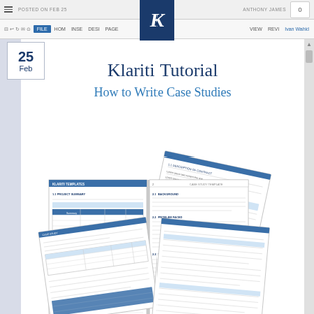POSTED ON FEB 25 · ANTHONY JAMES
[Figure (logo): Klariti K logo — white italic K on dark navy blue square background]
Klariti Tutorial
How to Write Case Studies
[Figure (photo): Scattered open booklets/documents showing case study templates with blue-highlighted tables and text sections]